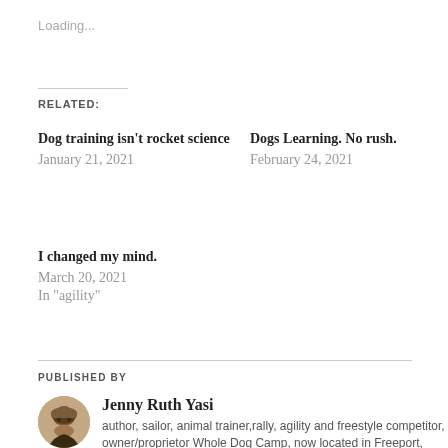Loading...
RELATED:
Dog training isn't rocket science
January 21, 2021
Dogs Learning. No rush.
February 24, 2021
I changed my mind.
March 20, 2021
In "agility"
PUBLISHED BY
Jenny Ruth Yasi
author, sailor, animal trainer,rally, agility and freestyle competitor, owner/proprietor Whole Dog Camp, now located in Freeport, Maine. For 31 years we lived on